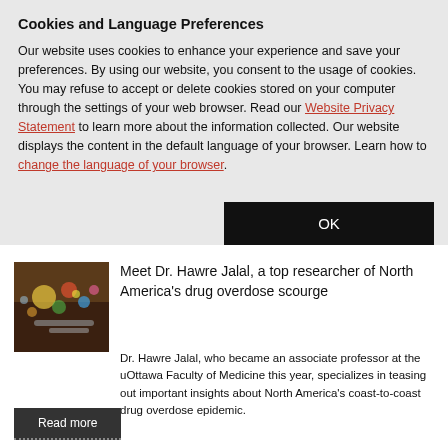Cookies and Language Preferences
Our website uses cookies to enhance your experience and save your preferences. By using our website, you consent to the usage of cookies. You may refuse to accept or delete cookies stored on your computer through the settings of your web browser. Read our Website Privacy Statement to learn more about the information collected. Our website displays the content in the default language of your browser. Learn how to change the language of your browser.
[Figure (photo): Colorful bokeh lights with pills/drugs on a dark surface]
Meet Dr. Hawre Jalal, a top researcher of North America's drug overdose scourge
Dr. Hawre Jalal, who became an associate professor at the uOttawa Faculty of Medicine this year, specializes in teasing out important insights about North America's coast-to-coast drug overdose epidemic.